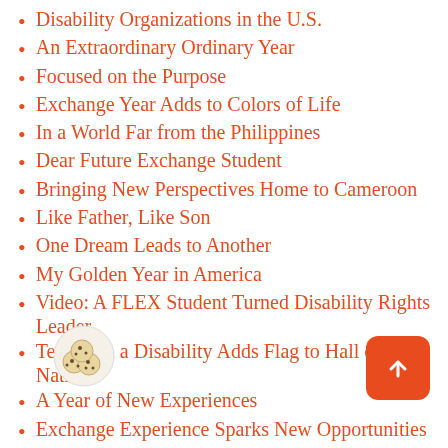Disability Organizations in the U.S.
An Extraordinary Ordinary Year
Focused on the Purpose
Exchange Year Adds to Colors of Life
In a World Far from the Philippines
Dear Future Exchange Student
Bringing New Perspectives Home to Cameroon
Like Father, Like Son
One Dream Leads to Another
My Golden Year in America
Video: A FLEX Student Turned Disability Rights Leader
Teen with a Disability Adds Flag to Hall of Nations
A Year of New Experiences
Exchange Experience Sparks New Opportunities
A New Commitment to Social Justice